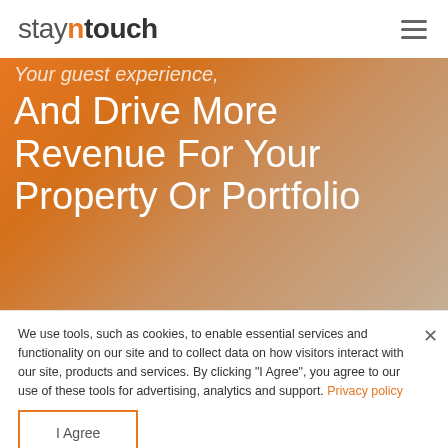stayntouch
[Figure (photo): Hero banner with orange/warm background showing partial text overlay: 'Your guest experience, And Drive More Revenue For Your Property Or Portfolio']
Your guest experience, And Drive More Revenue For Your Property Or Portfolio
We use tools, such as cookies, to enable essential services and functionality on our site and to collect data on how visitors interact with our site, products and services. By clicking "I Agree", you agree to our use of these tools for advertising, analytics and support. Privacy policy
I Agree